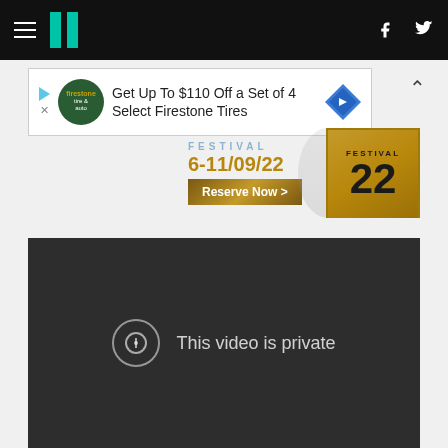[Figure (screenshot): Website navigation bar with hamburger menu, HuffPost logo (teal double-bar), Facebook and Twitter icons on black background]
[Figure (screenshot): Advertisement banner: 'Get Up To $110 Off a Set of 4 Select Firestone Tires' with Firestone auto logo and blue diamond direction icon]
[Figure (screenshot): Festival banner showing 'FESTIVAL 6-11/09/22' with 'Reserve Now' button and golden '22' festival badge]
[Figure (screenshot): Embedded video player showing dark background with message 'This video is private' and exclamation circle icon]